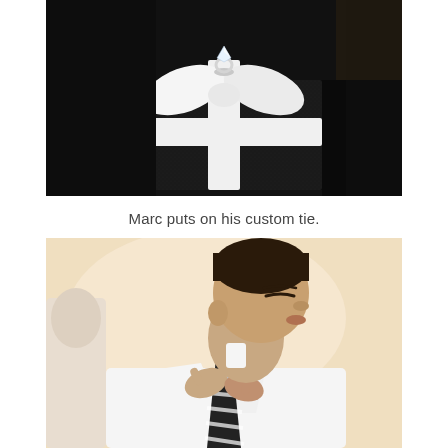[Figure (photo): Close-up photograph of a diamond engagement ring placed on top of a dark black gift box tied with a large white satin ribbon bow]
Marc puts on his custom tie.
[Figure (photo): Photograph of a man with dark hair in profile view, eyes closed, wearing a white dress shirt and adjusting a black and white striped tie]